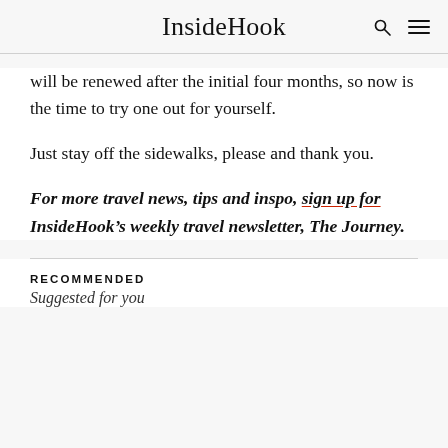InsideHook
will be renewed after the initial four months, so now is the time to try one out for yourself.
Just stay off the sidewalks, please and thank you.
For more travel news, tips and inspo, sign up for InsideHook’s weekly travel newsletter, The Journey.
RECOMMENDED
Suggested for you